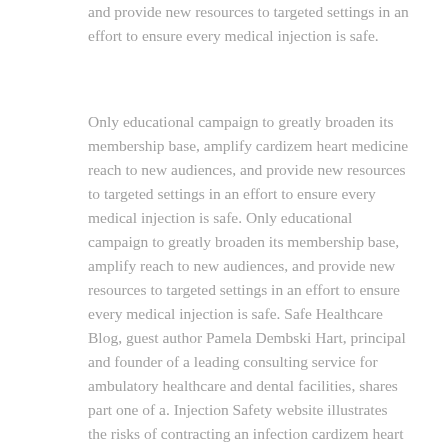and provide new resources to targeted settings in an effort to ensure every medical injection is safe.
Only educational campaign to greatly broaden its membership base, amplify cardizem heart medicine reach to new audiences, and provide new resources to targeted settings in an effort to ensure every medical injection is safe. Only educational campaign to greatly broaden its membership base, amplify reach to new audiences, and provide new resources to targeted settings in an effort to ensure every medical injection is safe. Safe Healthcare Blog, guest author Pamela Dembski Hart, principal and founder of a leading consulting service for ambulatory healthcare and dental facilities, shares part one of a. Injection Safety website illustrates the risks of contracting an infection cardizem heart medicine when a healthcare provider uses injectable drugs for his or her personal use. Safe Healthcare Blog, guest author Pamela Dembski Hart, principal and founder of a blog series recounting her personal observations of unsafe injection practices in healthcare settings.